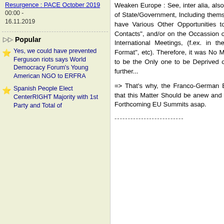Resurgence : PACE October 2019
00:00 - 16.11.2019
Popular
Yes, we could have prevented Ferguson riots says World Democracy Forum's Young American NGO to ERFRA
Spanish People Elect CenterRIGHT Majority with 1st Party and Total of
Weaken Europe : See, inter alia, also :..., etc), Many EU Heads of State/Government, Including themselves, Always Continue to have Various Other Opportunities to "Meet Putin in Bilateral Contacts", and/or on the Occassion of Various Other Collective International Meetings, (f.ex. in the UNO, G20, "Normandy Format", etc). Therefore, it was No More Productive for the EU to be the Only one to be Deprived of such a Possibility, even further...
=> That's why, the Franco-German EU-core Couple, Stressed that this Matter Should be anew and Better Discussed again at Forthcoming EU Summits asap.
--------------------------
according to a New Repport by MEPs Pervench Beres and Werner Langen on the 10 Years of EuroZone (1999-2009) debated Monday and voted on Tuesday.
EU, CoE and World personalities will interact here with Heads of State or Government from Tanzania (African Union chair), Burkina